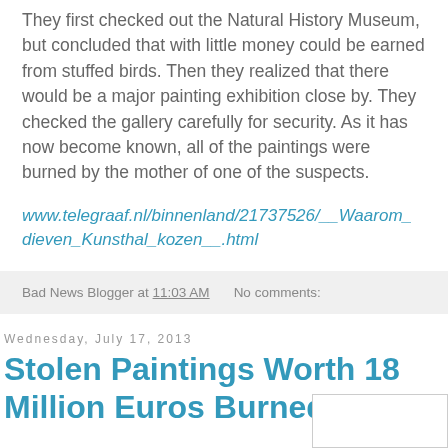They first checked out the Natural History Museum, but concluded that with little money could be earned from stuffed birds. Then they realized that there would be a major painting exhibition close by. They checked the gallery carefully for security. As it has now become known, all of the paintings were burned by the mother of one of the suspects.
www.telegraaf.nl/binnenland/21737526/__Waarom_dieven_Kunsthal_kozen__.html
Bad News Blogger at 11:03 AM   No comments:
Wednesday, July 17, 2013
Stolen Paintings Worth 18 Million Euros Burned